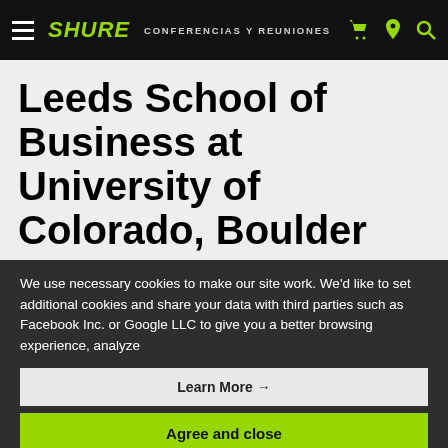SHURE  CONFERENCIAS Y REUNIONES
Leeds School of Business at University of Colorado, Boulder
We use necessary cookies to make our site work. We'd like to set additional cookies and share your data with third parties such as Facebook Inc. or Google LLC to give you a better browsing experience, analyze
Learn More →
Agree and close